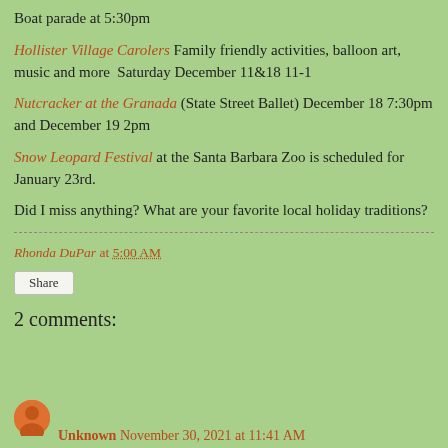Boat parade at 5:30pm
Hollister Village Carolers Family friendly activities, balloon art, music and more  Saturday December 11&18 11-1
Nutcracker at the Granada (State Street Ballet) December 18 7:30pm and December 19 2pm
Snow Leopard Festival at the Santa Barbara Zoo is scheduled for January 23rd.
Did I miss anything? What are your favorite local holiday traditions?
Rhonda DuPar at 5:00 AM
Share
2 comments:
Unknown November 30, 2021 at 11:41 AM